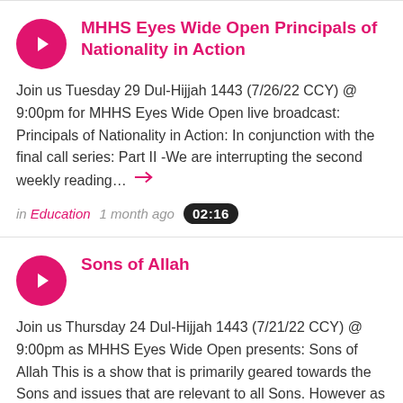MHHS Eyes Wide Open Principals of Nationality in Action
Join us Tuesday 29 Dul-Hijjah 1443 (7/26/22 CCY) @ 9:00pm for MHHS Eyes Wide Open live broadcast: Principals of Nationality in Action: In conjunction with the final call series: Part II -We are interrupting the second weekly reading....
in Education   1 month ago   02:16
Sons of Allah
Join us Thursday 24 Dul-Hijjah 1443 (7/21/22 CCY) @ 9:00pm as MHHS Eyes Wide Open presents: Sons of Allah This is a show that is primarily geared towards the Sons and issues that are relevant to all Sons. However as